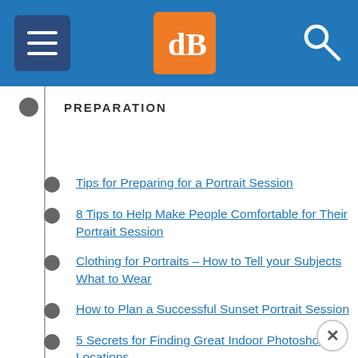dPS navigation menu header with hamburger menu, dPS logo, and search icon
PREPARATION
Tips for Preparing for a Portrait Session
8 Tips to Help Make People Comfortable for Their Portrait Session
Clothing for Portraits – How to Tell your Subjects What to Wear
How to Plan a Successful Sunset Portrait Session
5 Secrets for Finding Great Indoor Photoshoot Locations
10 Christmas Portrait Locations (with Bonus…